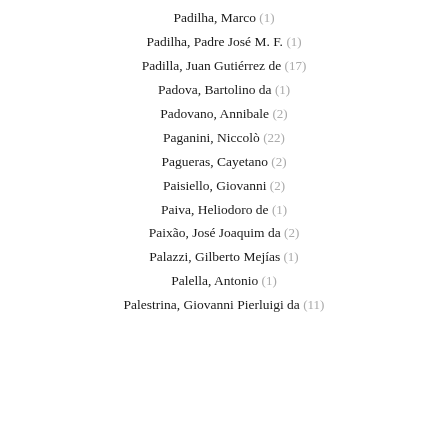Padilha, Marco (1)
Padilha, Padre José M. F. (1)
Padilla, Juan Gutiérrez de (17)
Padova, Bartolino da (1)
Padovano, Annibale (2)
Paganini, Niccolò (22)
Pagueras, Cayetano (2)
Paisiello, Giovanni (2)
Paiva, Heliodoro de (1)
Paixão, José Joaquim da (2)
Palazzi, Gilberto Mejías (1)
Palella, Antonio (1)
Palestrina, Giovanni Pierluigi da (11)